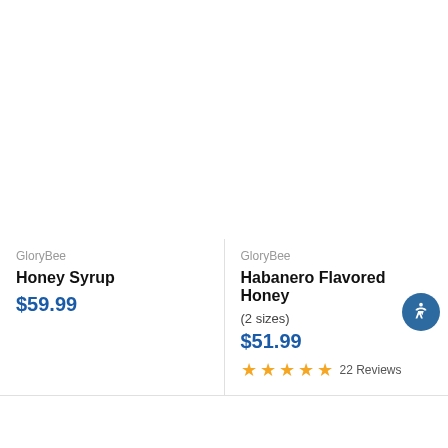GloryBee
Honey Syrup
$59.99
GloryBee
Habanero Flavored Honey
(2 sizes)
$51.99
22 Reviews